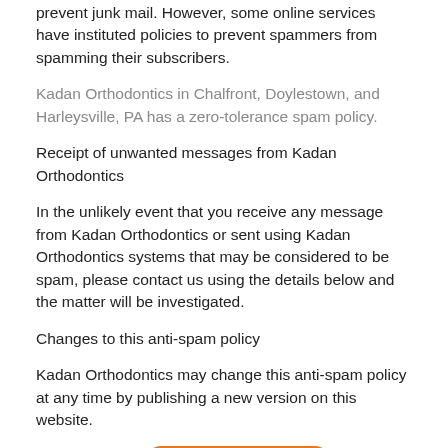prevent junk mail. However, some online services have instituted policies to prevent spammers from spamming their subscribers.
Kadan Orthodontics in Chalfront, Doylestown, and Harleysville, PA has a zero-tolerance spam policy.
Receipt of unwanted messages from Kadan Orthodontics
In the unlikely event that you receive any message from Kadan Orthodontics or sent using Kadan Orthodontics systems that may be considered to be spam, please contact us using the details below and the matter will be investigated.
Changes to this anti-spam policy
Kadan Orthodontics may change this anti-spam policy at any time by publishing a new version on this website.
Al Iverson's Sp...
Virtual Consultation